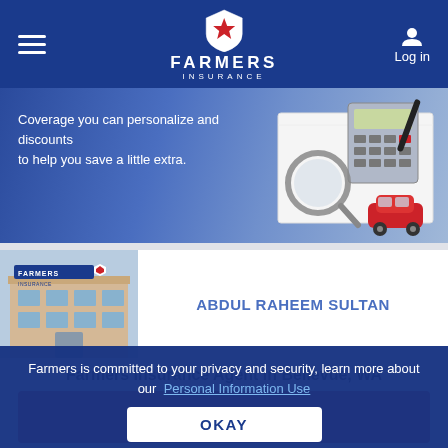Farmers Insurance — navigation bar with hamburger menu and Log in
[Figure (screenshot): Farmers Insurance website banner showing text 'Coverage you can personalize and discounts to help you save a little extra.' with a background image of a calculator, magnifying glass, pen, and a red toy car on a notebook against a blue background.]
[Figure (photo): Photo of a Farmers Insurance office building exterior with the Farmers Insurance logo and signage visible.]
ABDUL RAHEEM SULTAN
Farmers Insurance Agent in Bellevue, WA
GET A QUOTE
Farmers is committed to your privacy and security, learn more about our Personal Information Use
OKAY